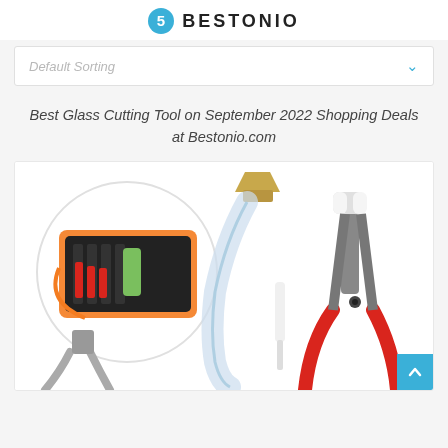BESTONIO
Default Sorting
Best Glass Cutting Tool on September 2022 Shopping Deals at Bestonio.com
[Figure (photo): Product photo of glass cutting tools including a tool kit in an orange case, a glass cutter with brass tip, and a pair of glass cutting pliers with red handles]